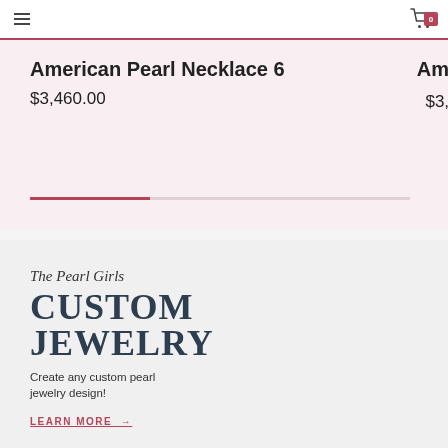Navigation bar with hamburger menu and cart icon (0 items)
American Pearl Necklace 6
$3,460.00
Amer (truncated) $3,72 (truncated)
The Pearl Girls
CUSTOM JEWELRY
Create any custom pearl jewelry design!
LEARN MORE →